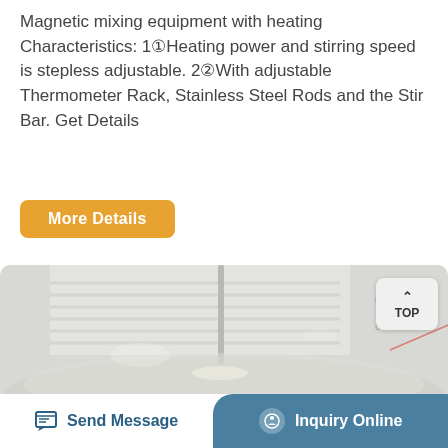Magnetic mixing equipment with heating Characteristics: 1① Heating power and stirring speed is stepless adjustable. 2② With adjustable Thermometer Rack, Stainless Steel Rods and the Stir Bar. Get Details
More Details
[Figure (photo): Close-up photo of a magnetic stirrer with a glass beaker containing a stir bar, showing graduated markings and a metal stirring rod inserted from above. A white rounded button labeled TOP with an upward arrow appears in the upper right corner.]
Send Message   Inquiry Online